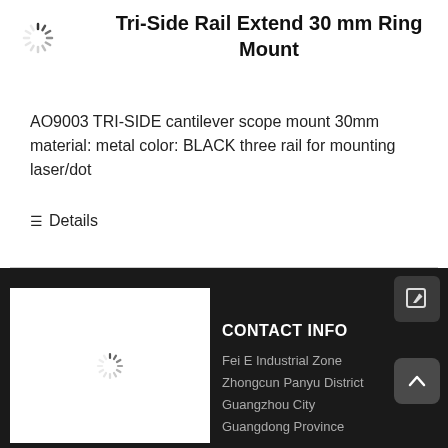[Figure (illustration): Loading spinner icon (spinning wheel) in the top-left area]
Tri-Side Rail Extend 30 mm Ring Mount
AO9003 TRI-SIDE cantilever scope mount 30mm material: metal color: BLACK three rail for mounting laser/dot
≡ Details
[Figure (photo): White product image box with loading spinner in the bottom-left of the dark footer section]
CONTACT INFO
Fei E Industrial Zone
Zhongcun Panyu District
Guangzhou City
Guangdong Province